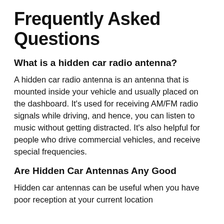Frequently Asked Questions
What is a hidden car radio antenna?
A hidden car radio antenna is an antenna that is mounted inside your vehicle and usually placed on the dashboard. It’s used for receiving AM/FM radio signals while driving, and hence, you can listen to music without getting distracted. It’s also helpful for people who drive commercial vehicles, and receive special frequencies.
Are Hidden Car Antennas Any Good
Hidden car antennas can be useful when you have poor reception at your current location